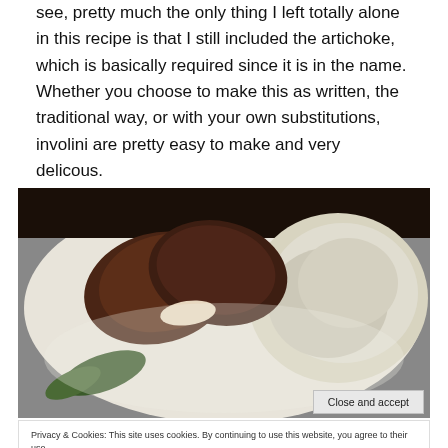see, pretty much the only thing I left totally alone in this recipe is that I still included the artichoke, which is basically required since it is in the name. Whether you choose to make this as written, the traditional way, or with your own substitutions, involini are pretty easy to make and very delicous.
[Figure (photo): A plate with two rolled meat involini cut to show filling, served with mashed potatoes or rice on the right and green vegetables visible at bottom left.]
Privacy & Cookies: This site uses cookies. By continuing to use this website, you agree to their use.
To find out more, including how to control cookies, see here: Cookie Policy
Close and accept
[Figure (photo): Partial view of another food photo at the bottom of the page showing colorful ingredients.]